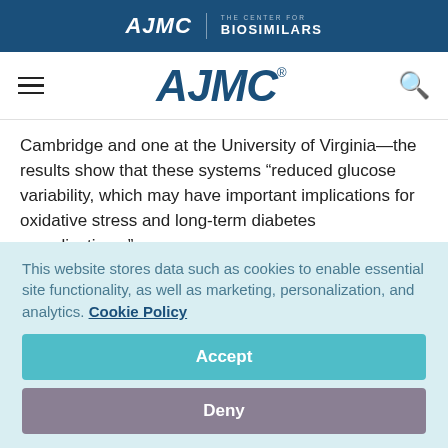AJMC | THE CENTER FOR BIOSIMILARS
AJMC
Cambridge and one at the University of Virginia—the results show that these systems “reduced glucose variability, which may have important implications for oxidative stress and long-term diabetes complications.”
“Based on the data presented, the HCL system could be a
This website stores data such as cookies to enable essential site functionality, as well as marketing, personalization, and analytics. Cookie Policy
Accept
Deny